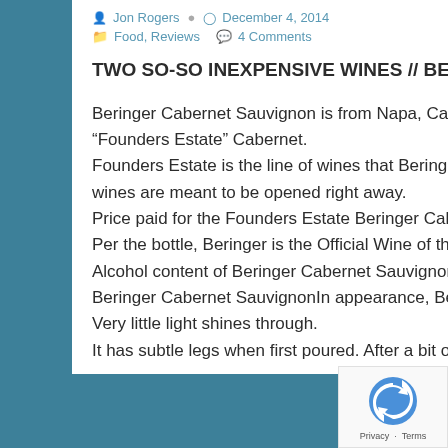Jon Rogers   December 4, 2014
Food, Reviews   4 Comments
TWO SO-SO INEXPENSIVE WINES // BERINGER CAB & YELLOW TAIL MOSCATO
Beringer Cabernet Sauvignon is from Napa, California, USA. For this review I tasted a 2012 “Founders Estate” Cabernet.
Founders Estate is the line of wines that Beringer says combines quality with every day value. These wines are meant to be opened right away.
Price paid for the Founders Estate Beringer Cabernet Sauvignon was $8.99.
Per the bottle, Beringer is the Official Wine of the PGA Tour.
Alcohol content of Beringer Cabernet Sauvignon 13.0%.
Beringer Cabernet SauvignonIn appearance, Beringer Cabernet Sauvignon is dark plum in color. Very little light shines through.
It has subtle legs when first poured. After a bit of air, it seemed to coat the inside of the glass